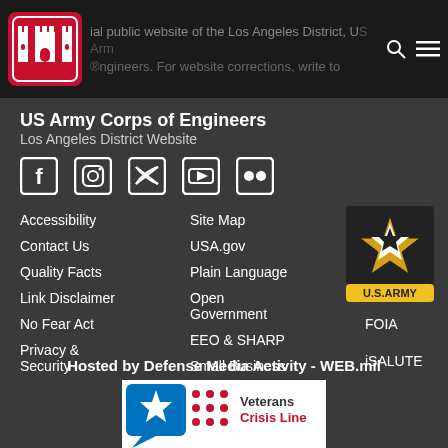official public website of the Los Angeles District, US Army Corps of Engineers. For website corrections, write to
US Army Corps of Engineers
Los Angeles District Website
[Figure (logo): US Army Corps of Engineers castle logo (red border, white castle)]
[Figure (logo): Social media icons: Facebook, Instagram, Twitter, YouTube, Flickr]
[Figure (logo): U.S. Army star logo with black background and gold star, U.S.ARMY text below]
Accessibility
Contact Us
Quality Facts
Link Disclaimer
No Fear Act
Privacy & Security
Site Map
USA.gov
Plain Language
Open Government
EEO & SHARP
Small Business
RSS
IG
FOIA
iSALUTE
Hosted by Defense Media Activity - WEB.mil
[Figure (logo): Veterans Crisis Line banner logo with blue speech bubble and star, red dots, Veterans Crisis Line text]